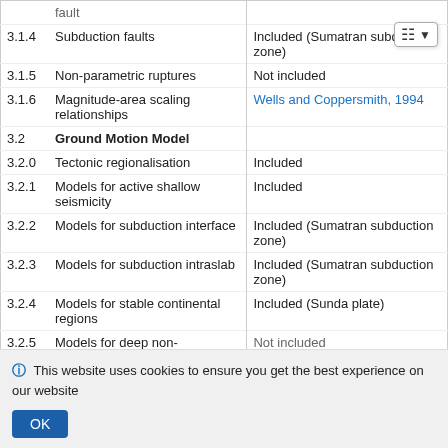| # | Description | Status |
| --- | --- | --- |
|  | fault |  |
| 3.1.4 | Subduction faults | Included (Sumatran subduction zone) |
| 3.1.5 | Non-parametric ruptures | Not included |
| 3.1.6 | Magnitude-area scaling relationships | Wells and Coppersmith, 1994 |
| 3.2 | Ground Motion Model |  |
| 3.2.0 | Tectonic regionalisation | Included |
| 3.2.1 | Models for active shallow seismicity | Included |
| 3.2.2 | Models for subduction interface | Included (Sumatran subduction zone) |
| 3.2.3 | Models for subduction intraslab | Included (Sumatran subduction zone) |
| 3.2.4 | Models for stable continental regions | Included (Sunda plate) |
| 3.2.5 | Models for deep non-subduction | Not included |
This website uses cookies to ensure you get the best experience on our website